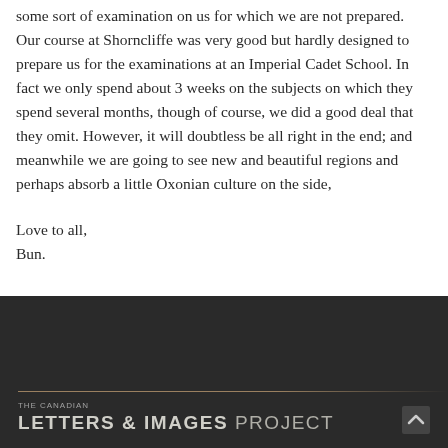some sort of examination on us for which we are not prepared. Our course at Shorncliffe was very good but hardly designed to prepare us for the examinations at an Imperial Cadet School. In fact we only spend about 3 weeks on the subjects on which they spend several months, though of course, we did a good deal that they omit. However, it will doubtless be all right in the end; and meanwhile we are going to see new and beautiful regions and perhaps absorb a little Oxonian culture on the side,
Love to all,
Bun.
THE CANADIAN
LETTERS & IMAGES PROJECT